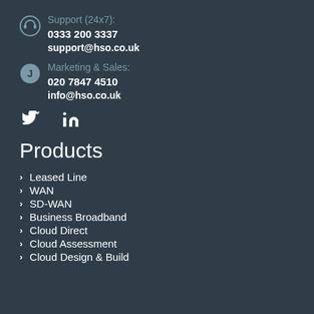Support (24x7): 0333 200 3337 support@hso.co.uk
Marketing & Sales: 020 7847 4510 info@hso.co.uk
[Figure (other): Twitter and LinkedIn social media icons]
Products
Leased Line
WAN
SD-WAN
Business Broadband
Cloud Direct
Cloud Assessment
Cloud Design & Build